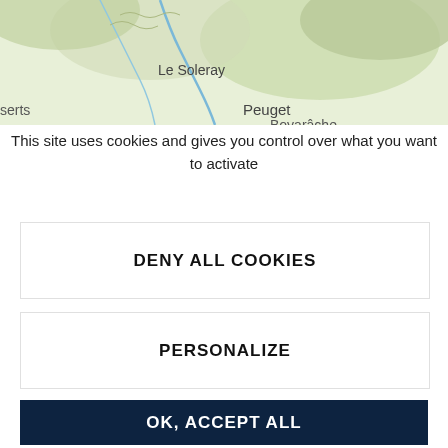[Figure (map): Partial map showing French Alpine terrain with place names: Le Soleray, Peuget, Boyarâche, and partial label 'serts'. Rivers and terrain rendered in OpenStreetMap style with green hills and blue waterways.]
This site uses cookies and gives you control over what you want to activate
DENY ALL COOKIES
PERSONALIZE
OK, ACCEPT ALL